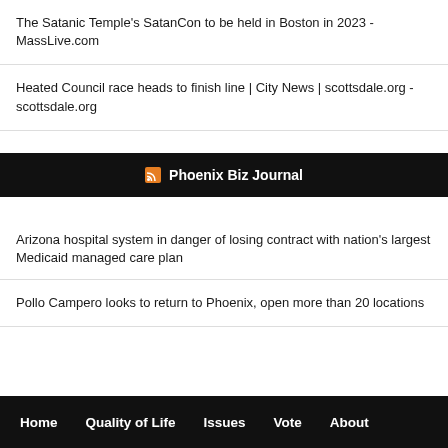The Satanic Temple's SatanCon to be held in Boston in 2023 - MassLive.com
Heated Council race heads to finish line | City News | scottsdale.org - scottsdale.org
Phoenix Biz Journal
Arizona hospital system in danger of losing contract with nation's largest Medicaid managed care plan
Pollo Campero looks to return to Phoenix, open more than 20 locations
Home   Quality of Life   Issues   Vote   About